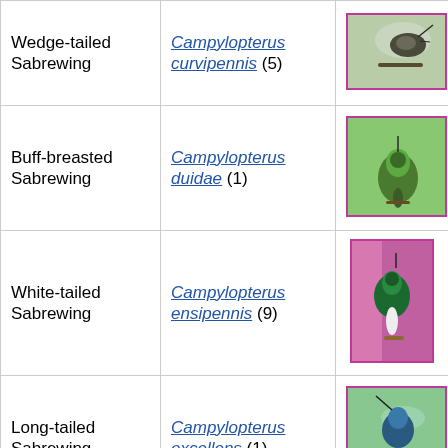| Common Name | Scientific Name | Photo |
| --- | --- | --- |
| Wedge-tailed Sabrewing | Campylopterus curvipennis (5) | [photo] |
| Buff-breasted Sabrewing | Campylopterus duidae (1) | [photo] |
| White-tailed Sabrewing | Campylopterus ensipennis (9) | [photo] |
| Long-tailed Sabrewing | Campylopterus excellens (1) | [photo] |
| Lazuline Sabrewing | Campylopterus ... (10) | [photo] |